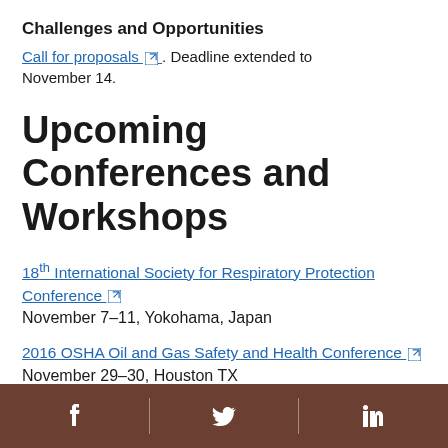Challenges and Opportunities
Call for proposals [external link] . Deadline extended to November 14.
Upcoming Conferences and Workshops
18th International Society for Respiratory Protection Conference [external link]
November 7–11, Yokohama, Japan
2016 OSHA Oil and Gas Safety and Health Conference [external link]
November 29–30, Houston TX
Society for Mining, Metallurgy and Exploration (SME)...
Facebook | Twitter | LinkedIn